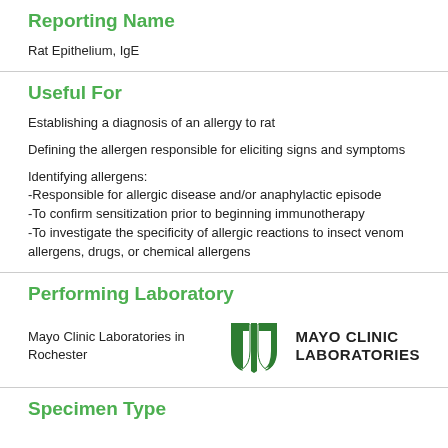Reporting Name
Rat Epithelium, IgE
Useful For
Establishing a diagnosis of an allergy to rat
Defining the allergen responsible for eliciting signs and symptoms
Identifying allergens:
-Responsible for allergic disease and/or anaphylactic episode
-To confirm sensitization prior to beginning immunotherapy
-To investigate the specificity of allergic reactions to insect venom allergens, drugs, or chemical allergens
Performing Laboratory
Mayo Clinic Laboratories in Rochester
[Figure (logo): Mayo Clinic Laboratories logo with shield icon and text]
Specimen Type